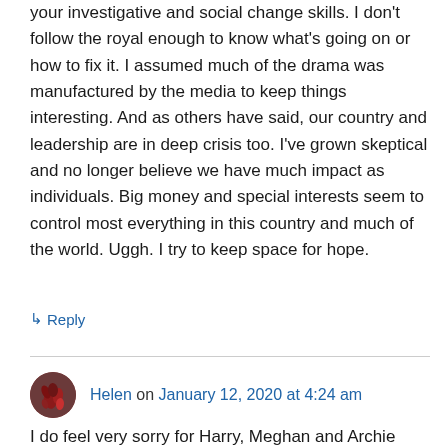your investigative and social change skills. I don't follow the royal enough to know what's going on or how to fix it. I assumed much of the drama was manufactured by the media to keep things interesting. And as others have said, our country and leadership are in deep crisis too. I've grown skeptical and no longer believe we have much impact as individuals. Big money and special interests seem to control most everything in this country and much of the world. Uggh. I try to keep space for hope.
↳ Reply
Helen on January 12, 2020 at 4:24 am
I do feel very sorry for Harry, Meghan and Archie